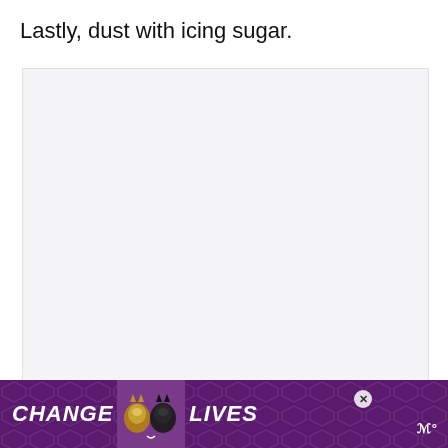Lastly, dust with icing sugar.
[Figure (photo): Large light gray placeholder image box for a food photo]
[Figure (infographic): Blue circular heart/like button showing 1.2K likes, and a share button below it]
[Figure (infographic): What's Next card showing Sesame Tofu Kebabs with food thumbnail]
[Figure (infographic): Purple advertisement banner reading CHANGE LIVES with cat images and a logo]